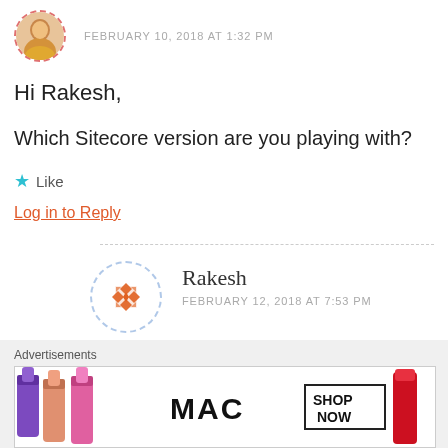[Figure (photo): User avatar photo (person), partially cropped, in a circle with dashed red border]
FEBRUARY 10, 2018 AT 1:32 PM
Hi Rakesh,
Which Sitecore version are you playing with?
★ Like
Log in to Reply
[Figure (logo): Rakesh user avatar: orange geometric star/snowflake pattern in dashed light-blue circle]
Rakesh
FEBRUARY 12, 2018 AT 7:53 PM
Advertisements
[Figure (photo): MAC cosmetics advertisement banner showing lipsticks and MAC logo with SHOP NOW button]